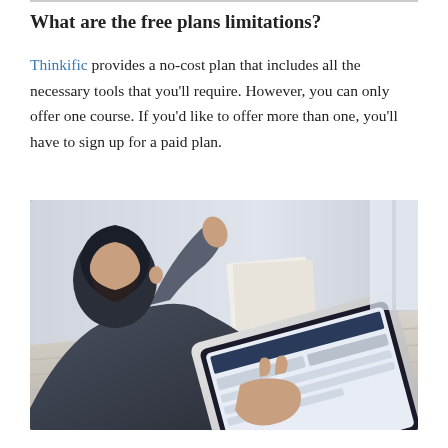What are the free plans limitations?
Thinkific provides a no-cost plan that includes all the necessary tools that you'll require. However, you can only offer one course. If you'd like to offer more than one, you'll have to sign up for a paid plan.
[Figure (photo): A bearded man sitting at a wooden table using a tablet computer, with a cup of coffee nearby and papers/books in the background.]